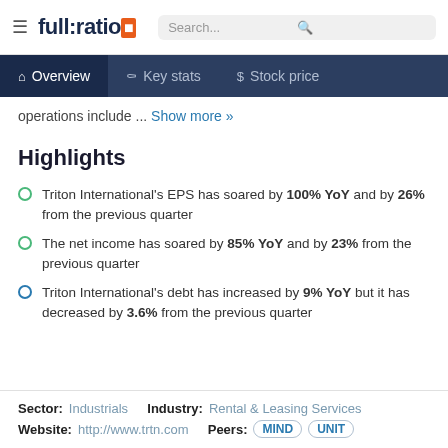full:ratio | Search...
Overview  Key stats  Stock price
operations include ... Show more »
Highlights
Triton International's EPS has soared by 100% YoY and by 26% from the previous quarter
The net income has soared by 85% YoY and by 23% from the previous quarter
Triton International's debt has increased by 9% YoY but it has decreased by 3.6% from the previous quarter
Sector: Industrials   Industry: Rental & Leasing Services
Website: http://www.trtn.com   Peers: MIND  UNIT